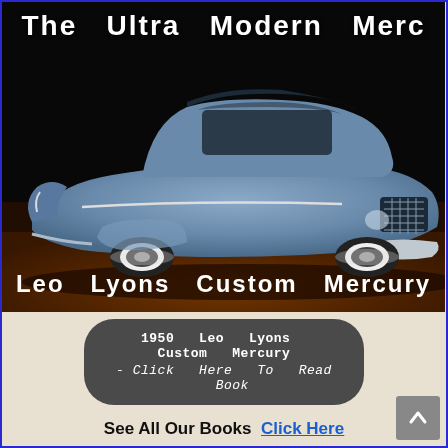The Ultra Modern Merc
[Figure (photo): A blue custom low-slung 1950s Mercury automobile on a dark brown floor with black background, viewed from the front-left angle.]
Leo Lyons Custom Mercury
1950 Leo Lyons Custom Mercury - Click Here To Read Book
See All Our Books  Click Here